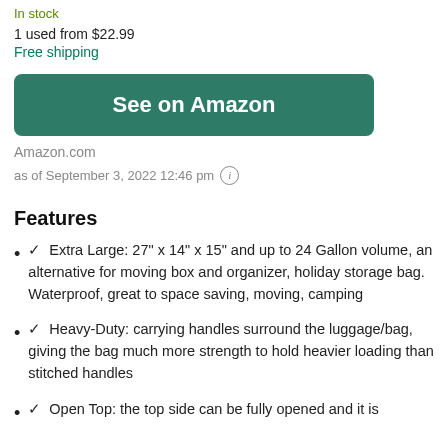In stock
1 used from $22.99
Free shipping
See on Amazon
Amazon.com
as of September 3, 2022 12:46 pm
Features
✓ Extra Large: 27" x 14" x 15" and up to 24 Gallon volume, an alternative for moving box and organizer, holiday storage bag. Waterproof, great to space saving, moving, camping
✓ Heavy-Duty: carrying handles surround the luggage/bag, giving the bag much more strength to hold heavier loading than stitched handles
✓ Open Top: the top side can be fully opened and it is